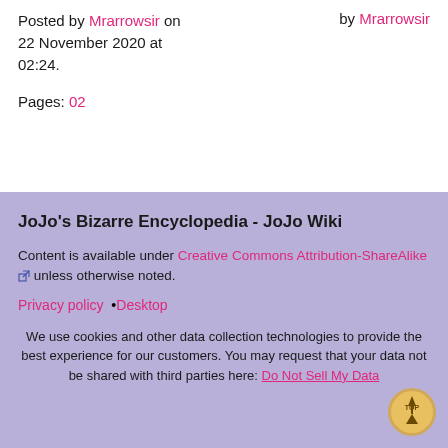Posted by Mrarrowsir on 22 November 2020 at 02:24.
by Mrarrowsir
Pages: 02
JoJo's Bizarre Encyclopedia - JoJo Wiki
Content is available under Creative Commons Attribution-ShareAlike unless otherwise noted.
Privacy policy •Desktop
We use cookies and other data collection technologies to provide the best experience for our customers. You may request that your data not be shared with third parties here: Do Not Sell My Data